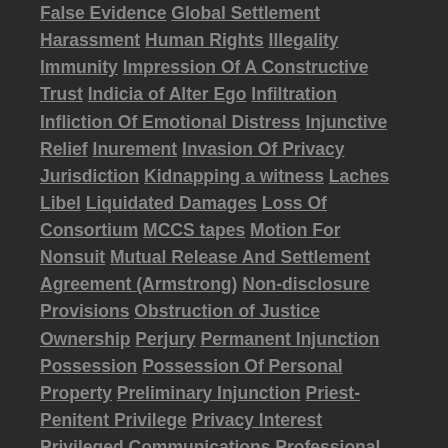False Evidence Global Settlement Harassment Human Rights Illegality Immunity Impression Of A Constructive Trust Indicia of Alter Ego Infiltration Infliction Of Emotional Distress Injunctive Relief Inurement Invasion Of Privacy Jurisdiction Kidnapping a witness Laches Libel Liquidated Damages Loss Of Consortium MCCS tapes Motion For Nonsuit Mutual Release And Settlement Agreement (Armstrong) Non-disclosure Provisions Obstruction of Justice Ownership Perjury Permanent Injunction Possession Possession Of Personal Property Preliminary Injunction Priest-Penitent Privilege Privacy Interest Privileged Communications Professional Conduct Public Figure Public Interest Public Policy Release(s) Religious Fraud Restatement Restatement Of Agency Restatement Of Contracts Sealing Order(s) Secret Agreement(s) Settlement Settlement Contract(s) Slander